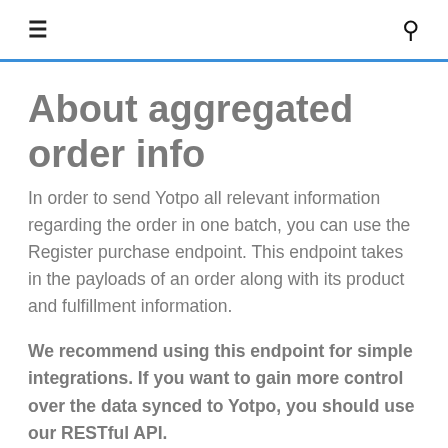≡  🔍
About aggregated order info
In order to send Yotpo all relevant information regarding the order in one batch, you can use the Register purchase endpoint. This endpoint takes in the payloads of an order along with its product and fulfillment information.
We recommend using this endpoint for simple integrations. If you want to gain more control over the data synced to Yotpo, you should use our RESTful API.